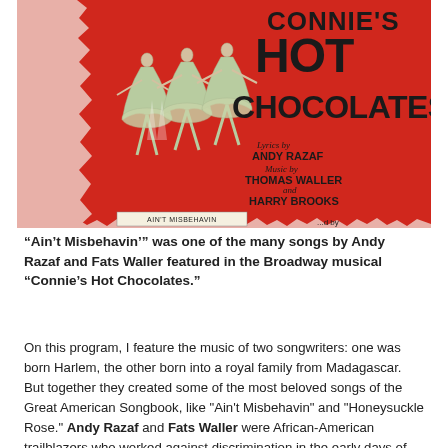[Figure (photo): Cover of the Broadway musical sheet music 'Connie's Hot Chocolates' featuring illustrated chorus line dancers on a red background. Text reads: Lyrics by Andy Razaf, Music by Thomas Waller and Harry Brooks. Bottom shows 'Ain't Misbehavin' label.]
“Ain’t Misbehavin’” was one of the many songs by Andy Razaf and Fats Waller featured in the Broadway musical “Connie’s Hot Chocolates.”
On this program, I feature the music of two songwriters: one was born Harlem, the other born into a royal family from Madagascar. But together they created some of the most beloved songs of the Great American Songbook, like "Ain't Misbehavin" and "Honeysuckle Rose." Andy Razaf and Fats Waller were African-American trailblazers who worked against discrimination in the early days of Tin Pan Alley songwriters. We'll hear their music as